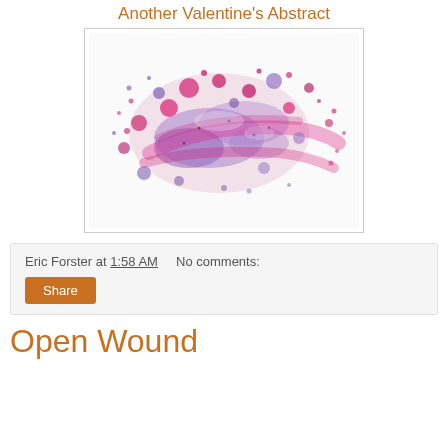Another Valentine's Abstract
[Figure (illustration): Abstract watercolor painting with splashes of pink, magenta, and purple on white background, resembling an ink splatter or floral burst]
Eric Forster at 1:58 AM    No comments:
Share
Open Wound